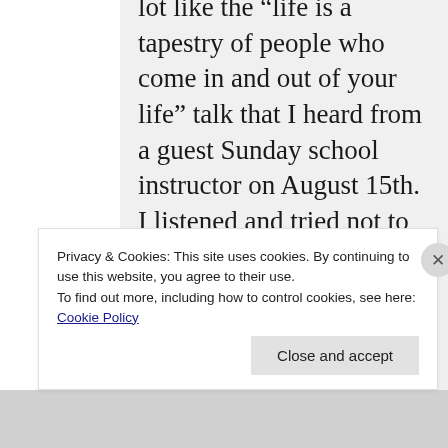lot like the “life is a tapestry of people who come in and out of your life” talk that I heard from a guest Sunday school instructor on August 15th. I listened and tried not to cry into my last resort cup of coffee, or cream, or sweet n low, whatever was really mostly in the cup. In the South, it’s still called Sunday school no matter
Privacy & Cookies: This site uses cookies. By continuing to use this website, you agree to their use. To find out more, including how to control cookies, see here: Cookie Policy
Close and accept